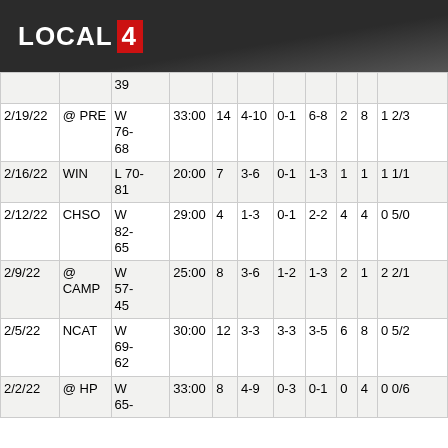[Figure (logo): LOCAL 4 television station logo on dark background]
| Date | Opp | Result | Min | Pts | FG | 3P | FT | Reb | Ast | Stl/TO |
| --- | --- | --- | --- | --- | --- | --- | --- | --- | --- | --- |
|  |  | 39 |  |  |  |  |  |  |  |  |
| 2/19/22 | @ PRE | W 76-68 | 33:00 | 14 | 4-10 | 0-1 | 6-8 | 2 | 8 | 1 2/3 |
| 2/16/22 | WIN | L 70-81 | 20:00 | 7 | 3-6 | 0-1 | 1-3 | 1 | 1 | 1 1/1 |
| 2/12/22 | CHSO | W 82-65 | 29:00 | 4 | 1-3 | 0-1 | 2-2 | 4 | 4 | 0 5/0 |
| 2/9/22 | @ CAMP | W 57-45 | 25:00 | 8 | 3-6 | 1-2 | 1-3 | 2 | 1 | 2 2/1 |
| 2/5/22 | NCAT | W 69-62 | 30:00 | 12 | 3-3 | 3-3 | 3-5 | 6 | 8 | 0 5/2 |
| 2/2/22 | @ HP | W 65- | 33:00 | 8 | 4-9 | 0-3 | 0-1 | 0 | 4 | 0 0/6 |